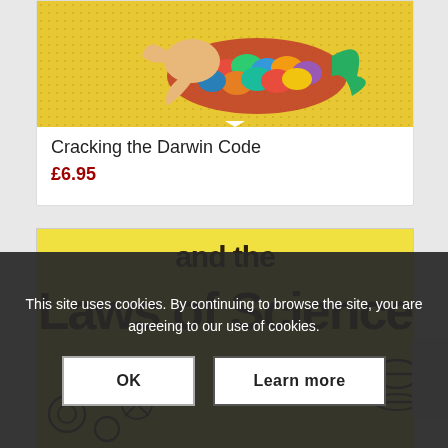[Figure (illustration): Book cover image for 'Cracking the Darwin Code' showing a mermaid-like figure with colorful fish scales on a yellow dotted background]
Cracking the Darwin Code
£6.95
[Figure (illustration): Book cover partial view showing 'and the Laws of Science' in bold dark text on a yellow background with illustrated scientific objects]
This site uses cookies. By continuing to browse the site, you are agreeing to our use of cookies.
OK
Learn more